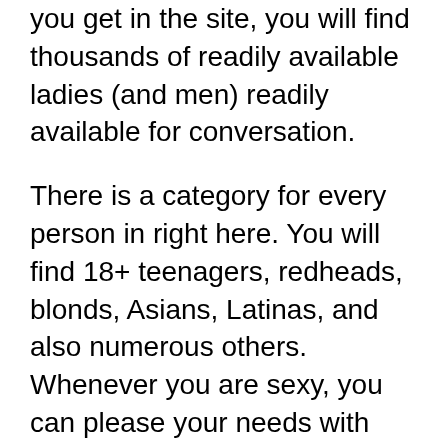you get in the site, you will find thousands of readily available ladies (and men) readily available for conversation.
There is a category for every person in right here. You will find 18+ teenagers, redheads, blonds, Asians, Latinas, and also numerous others. Whenever you are sexy, you can please your needs with your selection of proclivity or dream.
You can view shows free of charge without signing up. If you are a newbie, you can check out the readily available models online and also see if you locate any person you elegant. Nevertheless, if you wish to begin a chat conversation or take part in webcam to web cam sex, you have to register.